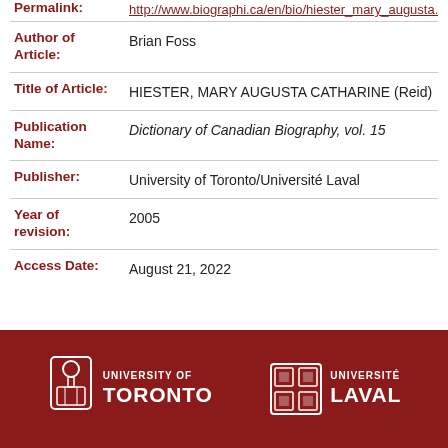Permalink: http://www.biographi.ca/en/bio/hiester_mary_augusta...
Author of Article: Brian Foss
Title of Article: HIESTER, MARY AUGUSTA CATHARINE (Reid)
Publication Name: Dictionary of Canadian Biography, vol. 15
Publisher: University of Toronto/Université Laval
Year of revision: 2005
Access Date: August 21, 2022
[Figure (logo): University of Toronto logo and wordmark on dark red footer bar, alongside Université Laval logo and wordmark]